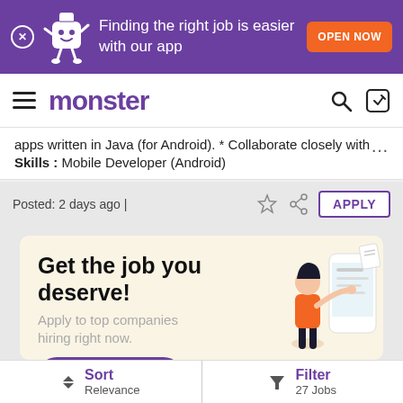[Figure (screenshot): Purple banner with Monster mascot character, text 'Finding the right job is easier with our app' and orange 'OPEN NOW' button]
monster
apps written in Java (for Android). * Collaborate closely with ...
Skills : Mobile Developer (Android)
Posted: 2 days ago |
[Figure (infographic): Promotional card: 'Get the job you deserve! Apply to top companies hiring right now. Register Now' with illustration of woman using phone app]
Sort Relevance | Filter 27 Jobs